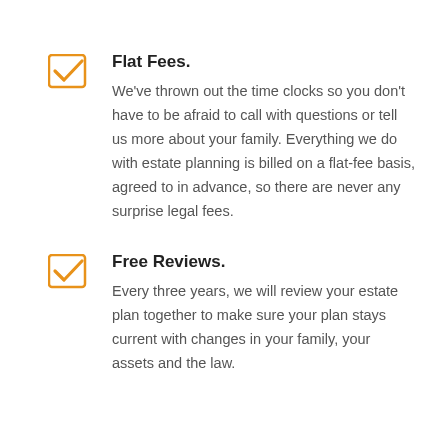Flat Fees. We've thrown out the time clocks so you don't have to be afraid to call with questions or tell us more about your family. Everything we do with estate planning is billed on a flat-fee basis, agreed to in advance, so there are never any surprise legal fees.
Free Reviews. Every three years, we will review your estate plan together to make sure your plan stays current with changes in your family, your assets and the law.